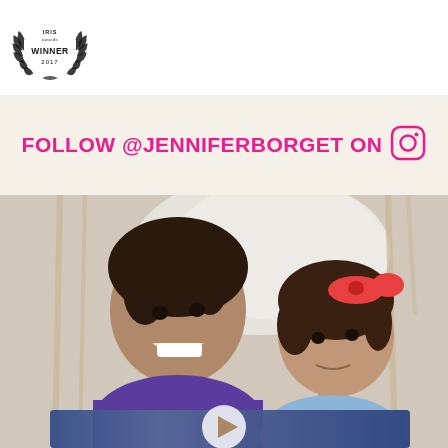[Figure (logo): Iris Awards Winner 2017 badge — circular wreath logo with 'IRIS awards WINNER 2017' text]
FOLLOW @JENNIFERBORGET ON [Instagram icon]
[Figure (photo): Two young girls smiling, one in a purple shirt and one in a blue shirt with a red bow headband, sitting in a wicker hanging chair. A glittery item is in the foreground. A play button overlay is visible.]